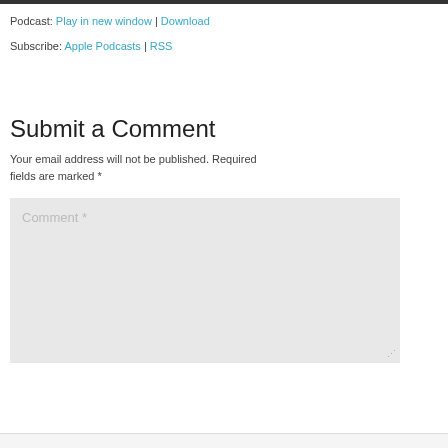Podcast: Play in new window | Download
Subscribe: Apple Podcasts | RSS
Submit a Comment
Your email address will not be published. Required fields are marked *
[Figure (screenshot): Comment text area input field with placeholder text 'Comment *' and a resize handle in the bottom right corner]